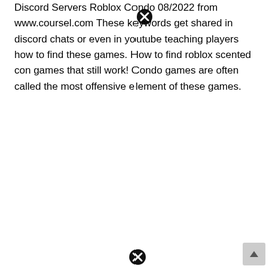Discord Servers Roblox Condo 08/2022 from www.coursel.com These keywords get shared in discord chats or even in youtube teaching players how to find these games. How to find roblox scented con games that still work! Condo games are often called the most offensive element of these games.